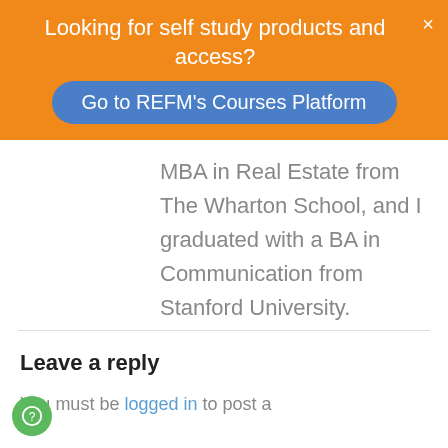Looking for self study products and access?
Go to REFM's Courses Platform
MBA in Real Estate from The Wharton School, and I graduated with a BA in Communication from Stanford University.
Leave a reply
You must be logged in to post a